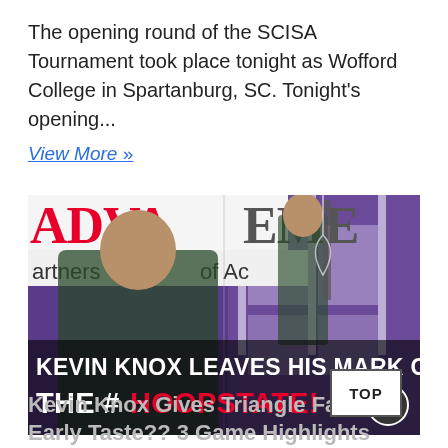The opening round of the SCISA Tournament took place tonight as Wofford College in Spartanburg, SC. Tonight's opening... View More »
[Figure (photo): Basketball player Kevin Knox in green jersey standing in front of a purple gymnasium background with 'ADVA' and 'EME' banner text visible. Text overlay reads 'KEVIN KNOX LEAVES HIS MARK ON THE #HOOPSTATE!' with a Ballislife logo in the bottom right corner.]
Kevin Knox Gives Triangle Fans an Early Taste?? 3 Game Highlights